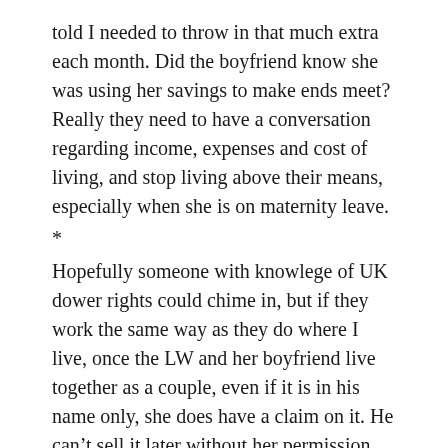told I needed to throw in that much extra each month. Did the boyfriend know she was using her savings to make ends meet? Really they need to have a conversation regarding income, expenses and cost of living, and stop living above their means, especially when she is on maternity leave.
*
Hopefully someone with knowlege of UK dower rights could chime in, but if they work the same way as they do where I live, once the LW and her boyfriend live together as a couple, even if it is in his name only, she does have a claim on it. He can't sell it later without her permission. For example, both my husband and I have properties we owned before meeting – he has a house in another city and I have a condo where we live. Since we lived in my condo together I can't sell it without his permission even though it is solely in my name, but